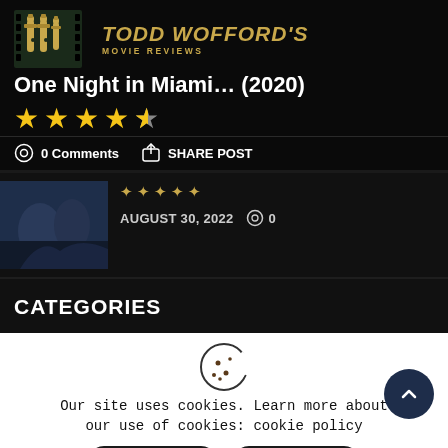TODD WOFFORD'S MOVIE REVIEWS
One Night in Miami… (2020)
[Figure (other): Star rating: 4.5 out of 5 stars]
0 Comments   SHARE POST
[Figure (photo): Partial thumbnail of a movie scene with figures in dark clothing]
AUGUST 30, 2022   0
CATEGORIES
[Figure (other): Cookie consent banner with cookie icon, accept and reject buttons]
Our site uses cookies. Learn more about our use of cookies: cookie policy
ACCEPT   REJECT